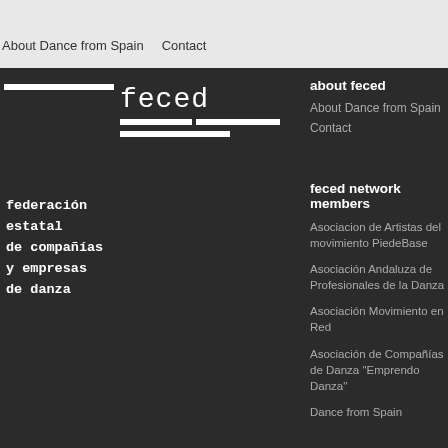About Dance from Spain   Contact
[Figure (logo): feced logo with white horizontal bars and monospace text reading 'feced']
federación estatal de compañías y empresas de danza
about feced
About Dance from Spain
Contact
feced network members
Asociacion de Artistas del movimiento PiedeBase
Asociación Andaluza de Profesionales de la Danza
Asociación Movimiento en Red
Asociación de Compañías de Danza "Emprendo Danza"
Dance from Spain